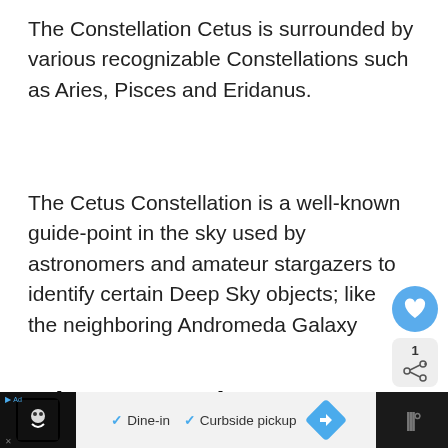The Constellation Cetus is surrounded by various recognizable Constellations such as Aries, Pisces and Eridanus.
The Cetus Constellation is a well-known guide-point in the sky used by astronomers and amateur stargazers to identify certain Deep Sky objects; like the neighboring Andromeda Galaxy
When to see the Constellation Cetus
The best months to spot the Constellation Cetus in the Northern Hemisphere are January
[Figure (other): Like button (heart icon in blue circle), share button with count 1, and What's Next panel showing Auriga Constellation link with dark circular thumbnail]
[Figure (other): Advertisement bar at bottom: logo icon on dark left, Dine-in and Curbside pickup options with checkmarks in light center, blue diamond icon, dark right section with menu symbol]